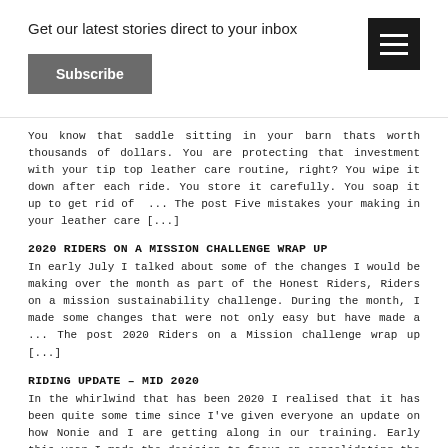Get our latest stories direct to your inbox
Subscribe
You know that saddle sitting in your barn thats worth thousands of dollars. You are protecting that investment with your tip top leather care routine, right? You wipe it down after each ride. You store it carefully. You soap it up to get rid of  ... The post Five mistakes your making in your leather care [...]
2020 RIDERS ON A MISSION CHALLENGE WRAP UP
In early July I talked about some of the changes I would be making over the month as part of the Honest Riders, Riders on a mission sustainability challenge. During the month, I made some changes that were not only easy but have made a ... The post 2020 Riders on a Mission challenge wrap up [...]
RIDING UPDATE – MID 2020
In the whirlwind that has been 2020 I realised that it has been quite some time since I've given everyone an update on how Nonie and I are getting along in our training. Early this year I made the decision to focus on consolidating the  ... The post Riding update – Mid 2020 appeared first on [...]
GRABBING MANE – BOOK REVIEW